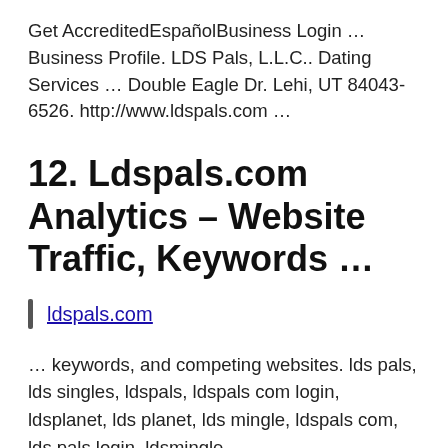Get AccreditedEspañolBusiness Login … Business Profile. LDS Pals, L.L.C.. Dating Services … Double Eagle Dr. Lehi, UT 84043-6526. http://www.ldspals.com …
12. Ldspals.com Analytics – Website Traffic, Keywords …
ldspals.com
… keywords, and competing websites. lds pals, lds singles, ldspals, ldspals com login, ldsplanet, lds planet, lds mingle, ldspals com, lds pals login, ldsmingle.